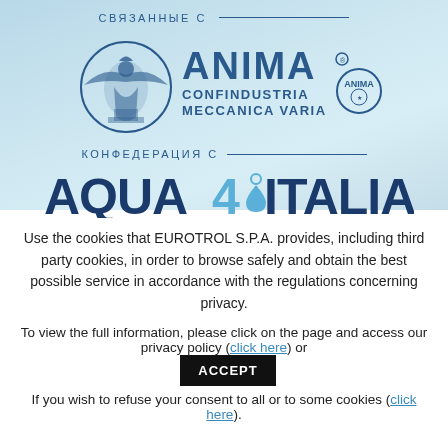СВЯЗАННЫЕ С
[Figure (logo): ANIMA Confindustria Meccanica Varia logo with eagle emblem and circular ANIMA badge]
КОНФЕДЕРАЦИЯ С
[Figure (logo): AQUA4ITALIA logo in dark blue and light blue colors]
Use the cookies that EUROTROL S.P.A. provides, including third party cookies, in order to browse safely and obtain the best possible service in accordance with the regulations concerning privacy.
To view the full information, please click on the page and access our privacy policy (click here) or ACCEPT
If you wish to refuse your consent to all or to some cookies (click here).